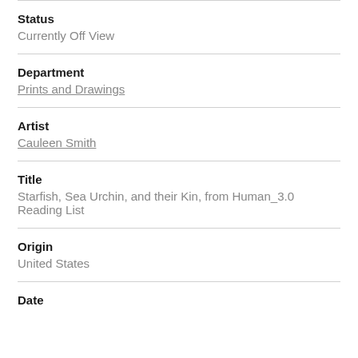Status
Currently Off View
Department
Prints and Drawings
Artist
Cauleen Smith
Title
Starfish, Sea Urchin, and their Kin, from Human_3.0 Reading List
Origin
United States
Date